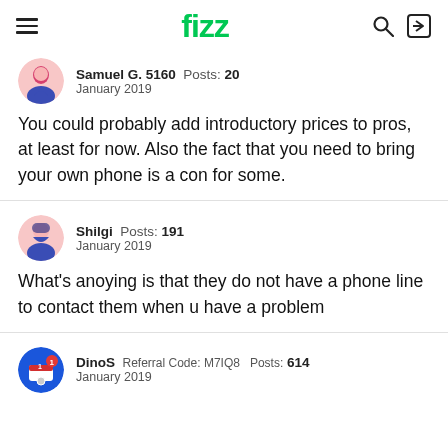fizz
Samuel G. 5160  Posts: 20
January 2019
You could probably add introductory prices to pros, at least for now. Also the fact that you need to bring your own phone is a con for some.
Shilgi  Posts: 191
January 2019
What's anoying is that they do not have a phone line to contact them when u have a problem
DinoS  Referral Code: M7IQ8  Posts: 614
January 2019